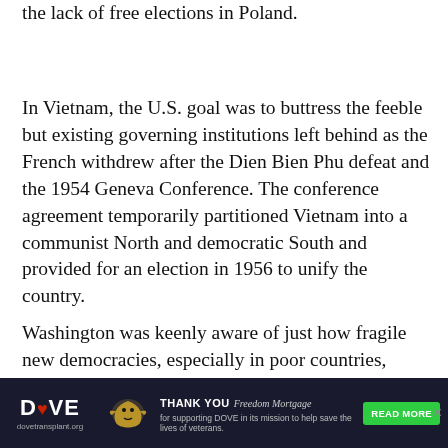the lack of free elections in Poland.
In Vietnam, the U.S. goal was to buttress the feeble but existing governing institutions left behind as the French withdrew after the Dien Bien Phu defeat and the 1954 Geneva Conference. The conference agreement temporarily partitioned Vietnam into a communist North and democratic South and provided for an election in 1956 to unify the country.
Washington was keenly aware of just how fragile new democracies, especially in poor countries, could be. The Defense Department estimated that $28.5 billion was spent on democracy and development activities during the most active phase of U.S. involvement in Vietnam. By the end
[Figure (other): Advertisement banner for DOVE (dove transplant.org) thanking Freedom Mortgage for supporting DOVE in its mission to help save the lives of veterans. Contains DOVE logo, eagle emblem, and a green READ MORE button.]